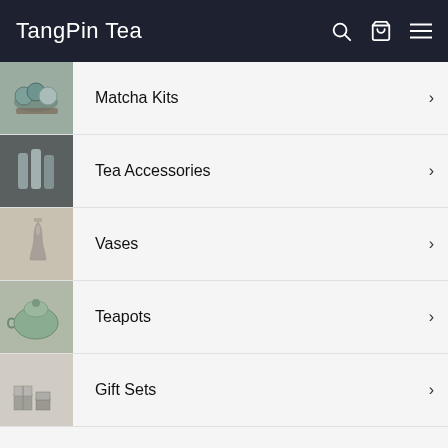TangPin Tea
Matcha Kits
Tea Accessories
Vases
Teapots
Gift Sets
Get in touch
Email us
Information
Tea Tips